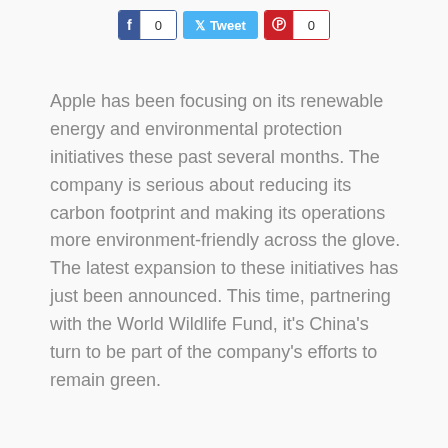[Figure (other): Social sharing buttons: Facebook with count 0, Twitter Tweet button, Pinterest with count 0]
Apple has been focusing on its renewable energy and environmental protection initiatives these past several months. The company is serious about reducing its carbon footprint and making its operations more environment-friendly across the glove. The latest expansion to these initiatives has just been announced. This time, partnering with the World Wildlife Fund, it's China's turn to be part of the company's efforts to remain green.